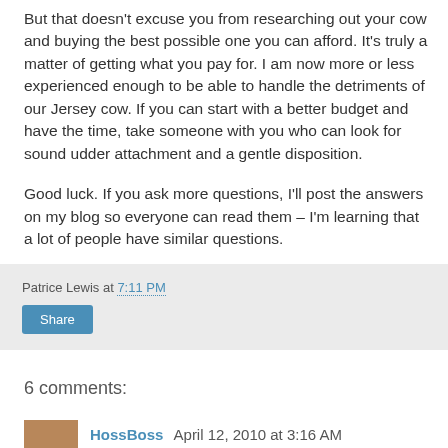But that doesn't excuse you from researching out your cow and buying the best possible one you can afford. It's truly a matter of getting what you pay for. I am now more or less experienced enough to be able to handle the detriments of our Jersey cow. If you can start with a better budget and have the time, take someone with you who can look for sound udder attachment and a gentle disposition.
Good luck. If you ask more questions, I'll post the answers on my blog so everyone can read them – I'm learning that a lot of people have similar questions.
Patrice Lewis at 7:11 PM
Share
6 comments:
HossBoss   April 12, 2010 at 3:16 AM